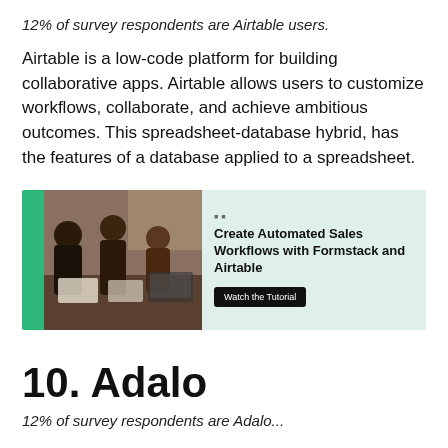12% of survey respondents are Airtable users.
Airtable is a low-code platform for building collaborative apps. Airtable allows users to customize workflows, collaborate, and achieve ambitious outcomes. This spreadsheet-database hybrid, has the features of a database applied to a spreadsheet.
[Figure (infographic): Promotional banner with a photo of people collaborating at a table on the left with a green accent bar, and on the right text reading 'Create Automated Sales Workflows with Formstack and Airtable' with a 'Watch the Tutorial' button, on a light green background.]
10. Adalo
12% of survey respondents are Adalo...